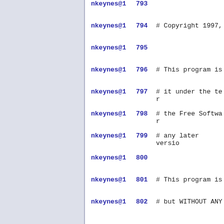nkeynes@1   793
nkeynes@1   794# Copyright 1997,
nkeynes@1   795
nkeynes@1   796# This program is
nkeynes@1   797# it under the ter
nkeynes@1   798# the Free Softwar
nkeynes@1   799# any later versio
nkeynes@1   800
nkeynes@1   801# This program is
nkeynes@1   802# but WITHOUT ANY